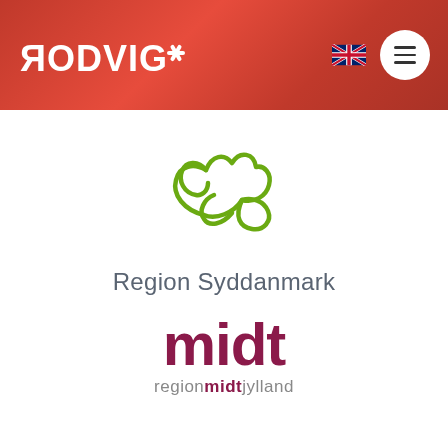[Figure (logo): RODVIG logo with asterisk/snowflake symbol in white on red background header, with UK flag icon and hamburger menu button]
[Figure (logo): Region Syddanmark logo: abstract green organic/leaf shapes above text 'Region Syddanmark' in grey]
[Figure (logo): Region Midtjylland logo: large dark red 'midt' text above 'regionmidtjylland' in grey and dark red]